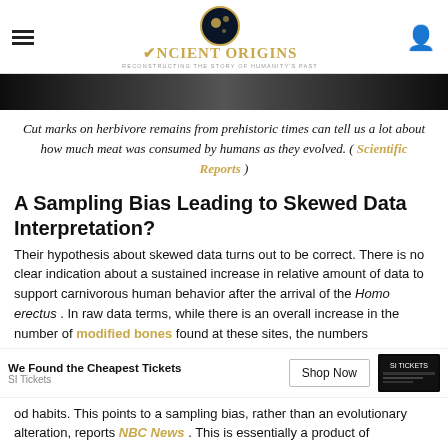Ancient Origins — Reconstructing the story of humanity's past
[Figure (photo): Dark monochrome image strip showing archaeological/prehistoric scene]
Cut marks on herbivore remains from prehistoric times can tell us a lot about how much meat was consumed by humans as they evolved. ( Scientific Reports )
A Sampling Bias Leading to Skewed Data Interpretation?
Their hypothesis about skewed data turns out to be correct. There is no clear indication about a sustained increase in relative amount of data to support carnivorous human behavior after the arrival of the Homo erectus . In raw data terms, while there is an overall increase in the number of modified bones found at these sites, the numbers correspond with an increase in sampling intensity, rather than a change in food habits.
This points to a sampling bias, rather than an evolutionary alteration, reports NBC News . This is essentially a product of